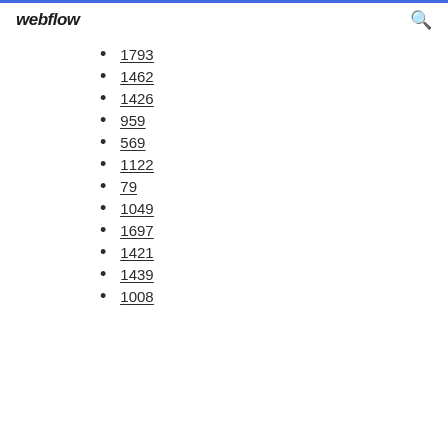webflow
1793
1462
1426
959
569
1122
79
1049
1697
1421
1439
1008